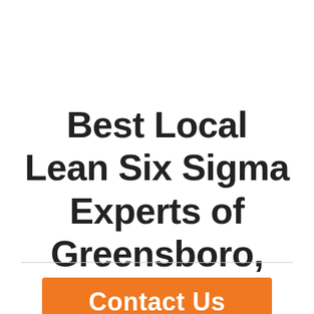Best Local Lean Six Sigma Experts of Greensboro, NC
Contact Us